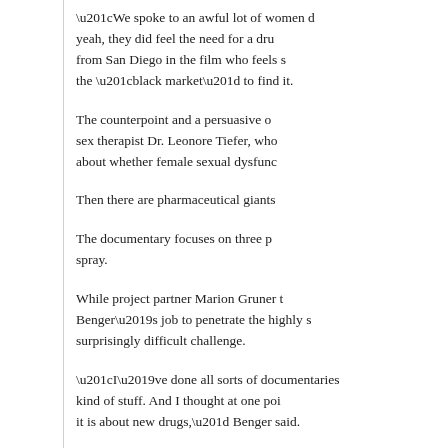“We spoke to an awful lot of women d… yeah, they did feel the need for a dru… from San Diego in the film who feels s… the “black market” to find it.
The counterpoint and a persuasive o… sex therapist Dr. Leonore Tiefer, who… about whether female sexual dysfunc…
Then there are pharmaceutical giants…
The documentary focuses on three p… spray.
While project partner Marion Gruner t… Benger’s job to penetrate the highly s… surprisingly difficult challenge.
“I’ve done all sorts of documentaries … kind of stuff. And I thought at one poi… it is about new drugs,” Benger said.